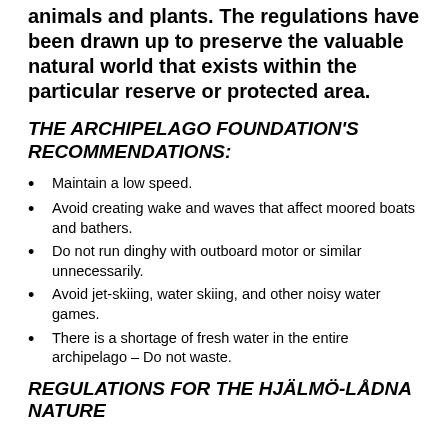animals and plants. The regulations have been drawn up to preserve the valuable natural world that exists within the particular reserve or protected area.
THE ARCHIPELAGO FOUNDATION'S RECOMMENDATIONS:
Maintain a low speed.
Avoid creating wake and waves that affect moored boats and bathers.
Do not run dinghy with outboard motor or similar unnecessarily.
Avoid jet-skiing, water skiing, and other noisy water games.
There is a shortage of fresh water in the entire archipelago – Do not waste.
REGULATIONS FOR THE HJÄLMÖ-LÅDNA NATURE